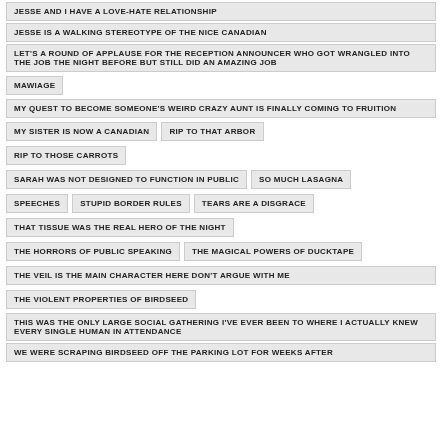JESSE AND I HAVE A LOVE-HATE RELATIONSHIP
JESSE IS A WALKING STEREOTYPE OF THE NICE CANADIAN
LET'S A ROUND OF APPLAUSE FOR THE RECEPTION ANNOUNCER WHO GOT WRANGLED INTO THE JOB THE NIGHT BEFORE BUT STILL DID AN AMAZING JOB
MAWIAGE
MY QUEST TO BECOME SOMEONE'S WEIRD CRAZY AUNT IS FINALLY COMING TO FRUITION
MY SISTER IS NOW A CANADIAN
RIP TO THAT ARBOR
RIP TO THOSE CARROTS
SARAH WAS NOT DESIGNED TO FUNCTION IN PUBLIC
SO MUCH LASAGNA
SPEECHES
STUPID BORDER RULES
TEARS ARE A DISGRACE
THAT TISSUE WAS THE REAL HERO OF THE NIGHT
THE HORRORS OF PUBLIC SPEAKING
THE MAGICAL POWERS OF DUCKTAPE
THE VEIL IS THE MAIN CHARACTER HERE DON'T ARGUE WITH ME
THE VIOLENT PROPERTIES OF BIRDSEED
THIS WAS THE ONLY LARGE SOCIAL GATHERING I'VE EVER BEEN TO WHERE I ACTUALLY KNEW EVERY SINGLE HUMAN IN ATTENDANCE
WE WERE SCRAPING BIRDSEED OFF THE PARKING LOT FOR WEEKS AFTER